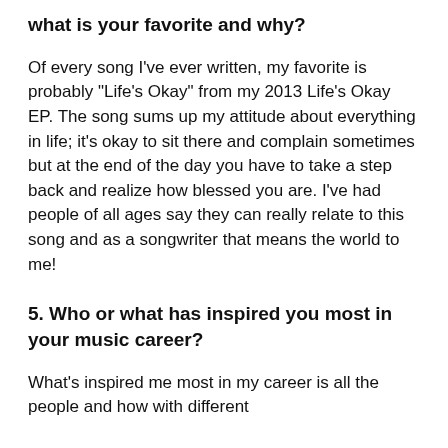what is your favorite and why?
Of every song I've ever written, my favorite is probably "Life's Okay" from my 2013 Life's Okay EP. The song sums up my attitude about everything in life; it's okay to sit there and complain sometimes but at the end of the day you have to take a step back and realize how blessed you are. I've had people of all ages say they can really relate to this song and as a songwriter that means the world to me!
5. Who or what has inspired you most in your music career?
What's inspired me most in my career is all the people and how with different